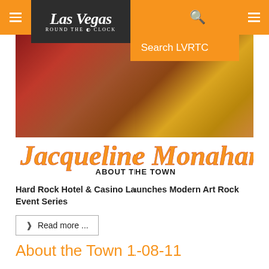Las Vegas Round the Clock
[Figure (screenshot): Search LVRTC dropdown overlay on orange background]
[Figure (photo): Decorative holiday/floral background photo]
[Figure (logo): Jacqueline Monahan About the Town logo with cursive script in orange and yellow gradient with black outline]
Hard Rock Hotel & Casino Launches Modern Art Rock Event Series
› Read more ...
About the Town 1-08-11